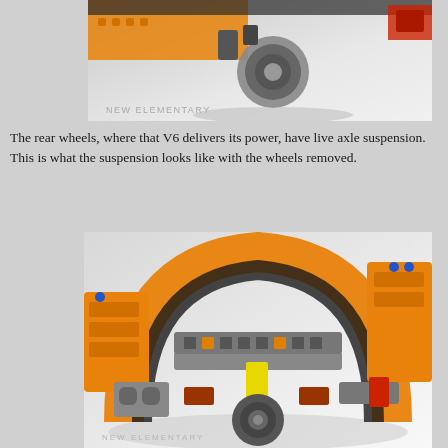[Figure (photo): Close-up photo of a LEGO Technic V6 engine mechanism and rear axle assembly, showing gray and orange components on a white surface. Watermark reads NEW ELEMENTARY.]
The rear wheels, where that V6 delivers its power, have live axle suspension. This is what the suspension looks like with the wheels removed.
[Figure (photo): Close-up photo of LEGO Technic rear live axle suspension with wheels removed, showing orange bodywork arching over gray and orange mechanical components including axle, gears, and connectors. Watermark reads NEW ELEMENTARY.]